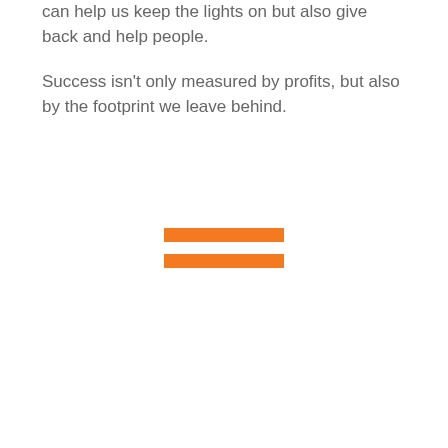can help us keep the lights on but also give back and help people.
Success isn't only measured by profits, but also by the footprint we leave behind.
[Figure (other): Two horizontal orange bars arranged like an equals sign or a simplified menu/list icon]